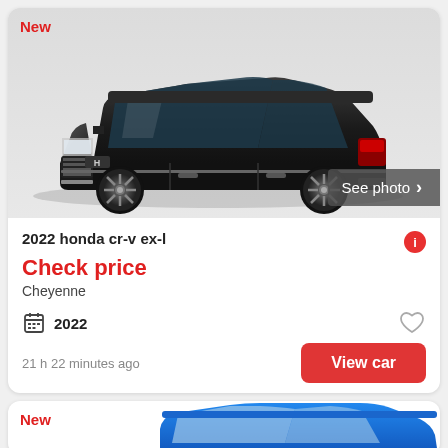[Figure (photo): Black Honda CR-V SUV viewed from front-left angle on white/grey background]
New
See photo >
2022 honda cr-v ex-l
Check price
Cheyenne
2022
21 h 22 minutes ago
View car
New
[Figure (photo): Partial view of a blue SUV, top portion visible]